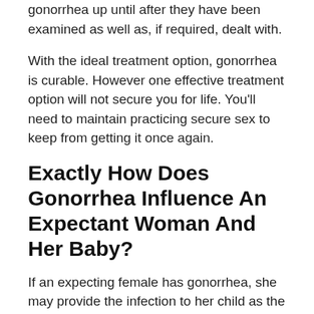gonorrhea up until after they have been examined as well as, if required, dealt with.
With the ideal treatment option, gonorrhea is curable. However one effective treatment option will not secure you for life. You'll need to maintain practicing secure sex to keep from getting it once again.
Exactly How Does Gonorrhea Influence An Expectant Woman And Her Baby?
If an expecting female has gonorrhea, she may provide the infection to her child as the baby goes through the birth canal during shipment. This can cause loss of sight, joint infection, or a deadly blood infection in the infant.